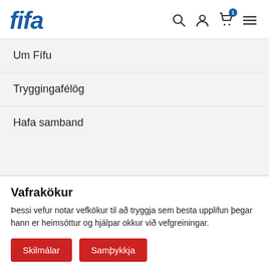[Figure (logo): FIFA logo in bold italic blue text]
Um Fífu
Tryggingafélög
Hafa samband
Vafrakökur
Þessi vefur notar vefkökur til að tryggja sem besta upplifun þegar hann er heimsóttur og hjálpar okkur við vefgreiningar.
Skilmálar   Samþykkja